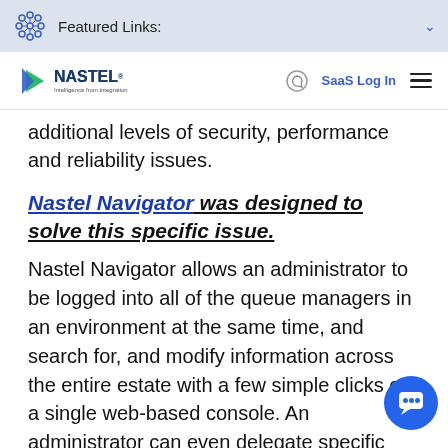Featured Links:
[Figure (logo): Nastel Technologies logo with tagline 'Intelligence from integration'. Navigation bar with SaaS Log In link and hamburger menu.]
additional levels of security, performance and reliability issues.
Nastel Navigator was designed to solve this specific issue.
Nastel Navigator allows an administrator to be logged into all of the queue managers in an environment at the same time, and search for, and modify information across the entire estate with a few simple clicks on a single web-based console. An administrator can even delegate specific functions on specific queues or groups of queues to the development and QA users who are using them, allowing for rapid changes in a controlled and secure way.